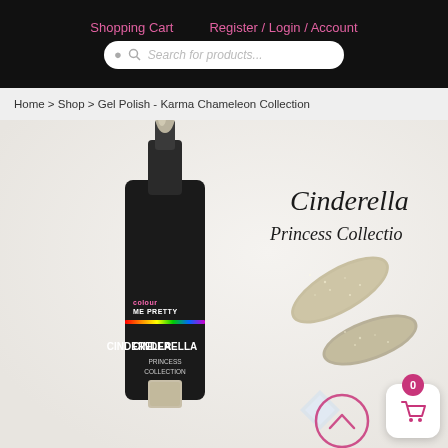Shopping Cart    Register / Login / Account
Search for products...
Home > Shop > Gel Polish - Karma Chameleon Collection
[Figure (photo): Product photo of Cinderella Princess Collection gel nail polish by Colour Me Pretty, showing a dark bottle with open cap and two nail swatches in a shimmery champagne/taupe color. Text overlay reads 'Cinderella Princess Collection'.]